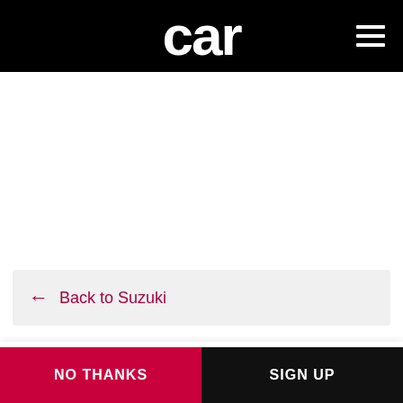car
Back to Suzuki
CAR magazine notifications
Sign up for all the latest breaking news, new-car alerts and the best electric buying advice
NO THANKS
SIGN UP